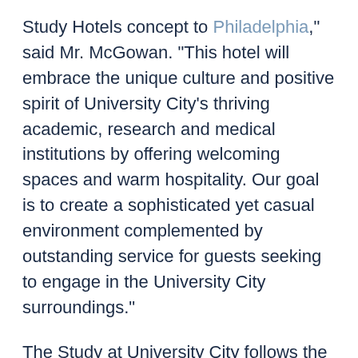Study Hotels concept to Philadelphia," said Mr. McGowan. "This hotel will embrace the unique culture and positive spirit of University City's thriving academic, research and medical institutions by offering welcoming spaces and warm hospitality.  Our goal is to create a sophisticated yet casual environment complemented by outstanding service for guests seeking to engage in the University City surroundings."
The Study at University City follows the success of The Study at Yale, the brand's first hotel located in New Haven, Connecticut, which has successfully connected guests to its Ivy League locale while becoming ingrained in the fabric of the community it serves.
"University City is home to one of the world's great intellectual ecosystems in one of the most transit-accessible locations," said Foo. "What has become, in rising...